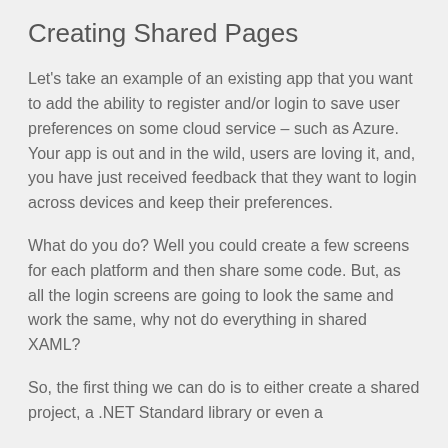Creating Shared Pages
Let's take an example of an existing app that you want to add the ability to register and/or login to save user preferences on some cloud service – such as Azure. Your app is out and in the wild, users are loving it, and, you have just received feedback that they want to login across devices and keep their preferences.
What do you do? Well you could create a few screens for each platform and then share some code. But, as all the login screens are going to look the same and work the same, why not do everything in shared XAML?
So, the first thing we can do is to either create a shared project, a .NET Standard library or even a